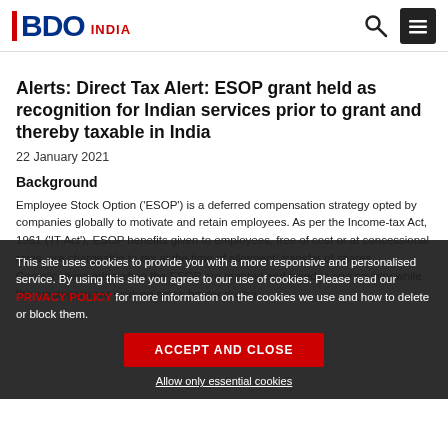BDO INDIA
Alerts: Direct Tax Alert: ESOP grant held as recognition for Indian services prior to grant and thereby taxable in India
22 January 2021
Background
Employee Stock Option ('ESOP') is a deferred compensation strategy opted by companies globally to motivate and retain employees. As per the Income-tax Act, 1961 ('IT Act'), ESOP benefits given to employees, free of cost or at concessional rates, are chargeable to tax at the time of allotment/ transfer of shares. Complications arise when the ESOP are granted and taxed in one country while the employees are working cross-border during the vesting period.
This site uses cookies to provide you with a more responsive and personalised service. By using this site you agree to our use of cookies. Please read our PRIVACY POLICY for more information on the cookies we use and how to delete or block them.
ACCEPT AND CLOSE
Allow only essential cookies
In this regard, recently, the Mumbai Tax Tribunal ('Tribunal')1 examined the tax implication in case of an individual tax-payer who was granted ESOPs while in India but exercised the same while he was outside India (Dubai). West BDO